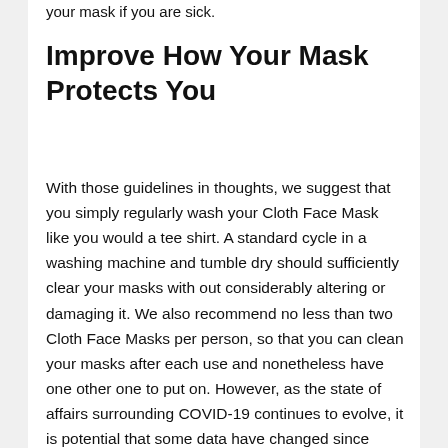your mask if you are sick.
Improve How Your Mask Protects You
With those guidelines in thoughts, we suggest that you simply regularly wash your Cloth Face Mask like you would a tee shirt. A standard cycle in a washing machine and tumble dry should sufficiently clear your masks with out considerably altering or damaging it. We also recommend no less than two Cloth Face Masks per person, so that you can clean your masks after each use and nonetheless have one other one to put on. However, as the state of affairs surrounding COVID-19 continues to evolve, it is potential that some data have changed since publication. While Health is attempting to maintain our tales as up-to-date as potential, we additionally encourage readers